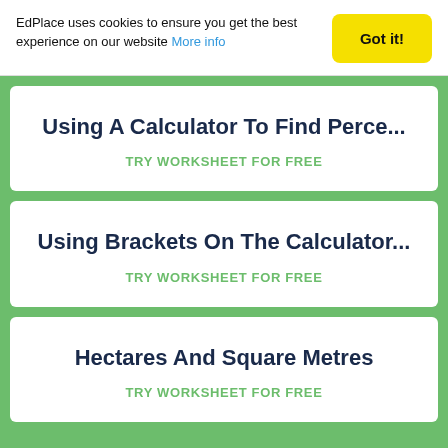EdPlace uses cookies to ensure you get the best experience on our website More info
Got it!
Using A Calculator To Find Perce...
TRY WORKSHEET FOR FREE
Using Brackets On The Calculator...
TRY WORKSHEET FOR FREE
Hectares And Square Metres
TRY WORKSHEET FOR FREE